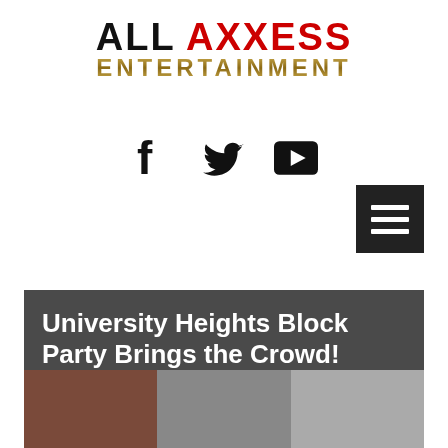[Figure (logo): All Axxess Entertainment logo — 'ALL' in black, 'AXXESS' in red, 'ENTERTAINMENT' in gold metallic text]
[Figure (infographic): Social media icons: Facebook (f), Twitter (bird), YouTube (play button)]
[Figure (other): Hamburger menu button — dark square with three white horizontal lines]
University Heights Block Party Brings the Crowd!
[Figure (photo): Partial blurred photo strip at bottom of article card showing crowd at block party]